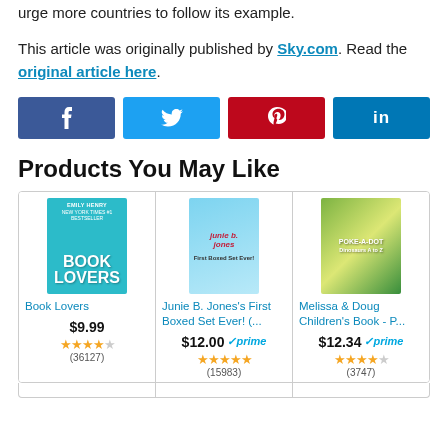urge more countries to follow its example.
This article was originally published by Sky.com. Read the original article here.
[Figure (infographic): Social sharing buttons: Facebook (dark blue), Twitter (light blue), Pinterest (red), LinkedIn (dark blue)]
Products You May Like
[Figure (other): Book Lovers by Emily Henry book cover]
Book Lovers
$9.99
★★★★½ (36127)
[Figure (other): Junie B. Jones First Boxed Set Ever book cover]
Junie B. Jones's First Boxed Set Ever! (...
$12.00 ✓prime
★★★★★ (15983)
[Figure (other): Melissa & Doug Poke-a-Dot Dinosaurs A to Z children's book cover]
Melissa & Doug Children's Book - P...
$12.34 ✓prime
★★★★ (3747)